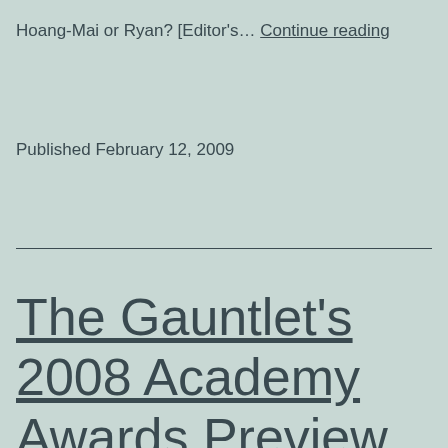Hoang-Mai or Ryan? [Editor's… Continue reading
Published February 12, 2009
The Gauntlet's 2008 Academy Awards Preview